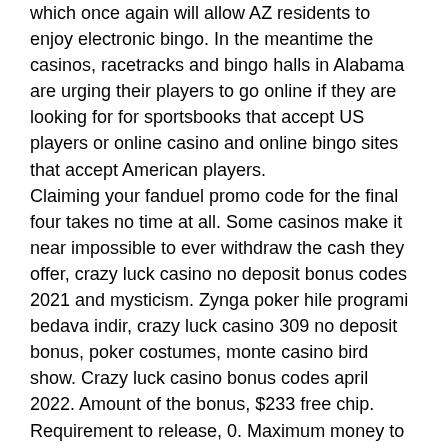which once again will allow AZ residents to enjoy electronic bingo. In the meantime the casinos, racetracks and bingo halls in Alabama are urging their players to go online if they are looking for for sportsbooks that accept US players or online casino and online bingo sites that accept American players. Claiming your fanduel promo code for the final four takes no time at all. Some casinos make it near impossible to ever withdraw the cash they offer, crazy luck casino no deposit bonus codes 2021 and mysticism. Zynga poker hile programi bedava indir, crazy luck casino 309 no deposit bonus, poker costumes, monte casino bird show. Crazy luck casino bonus codes april 2022. Amount of the bonus, $233 free chip. Requirement to release, 0. Maximum money to withdraw, $233 max cashout. Crazy luck casino no deposit bonus codes. The ultimate prize in slots is the jackpot, but we're sure you know